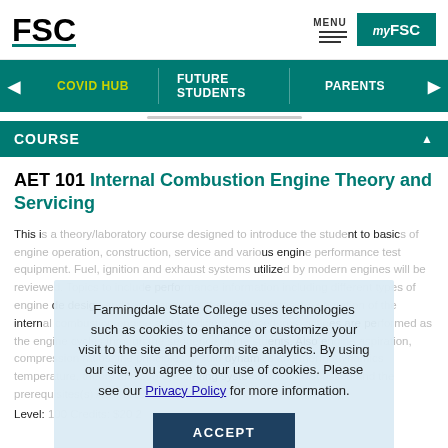FSC | MENU | myFSC
COVID HUB | FUTURE STUDENTS | PARENTS
COURSE
AET 101 Internal Combustion Engine Theory and Servicing
This is a theory/laboratory course designed to introduce the student to basic internal engine operation, construction, service and various engine performance test equipment. Fuel, ignition and exhaust systems utilized by modern engines will be reviewed. Topics to include design of internal combustion engines, the operations that take place actions are performed as the engine cycles through that sequence and the students. Also engine aspiration, compression ratios, the principles of fluid dynamics and thermodynamics (temperature, theory and sub-systems) ring systems will be discussed and the prerequisites. Level: 100 Credits: $20 2
Farmingdale State College uses technologies such as cookies to enhance or customize your visit to the site and perform site analytics. By using our site, you agree to our use of cookies. Please see our Privacy Policy for more information.
ACCEPT